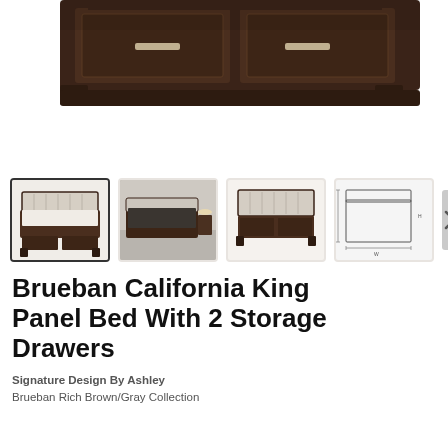[Figure (photo): Main product photo of Brueban California King Panel Bed with 2 Storage Drawers — dark brown/gray wood frame with upholstered headboard and two drawers at the footboard, cropped to show foot of bed from above.]
[Figure (photo): Thumbnail 1 (selected): Full bed front view — dark espresso frame, light upholstered headboard, storage drawers at footboard, white bedding.]
[Figure (photo): Thumbnail 2: Styled bedroom scene with the Brueban bed with dark bedding and nightstands.]
[Figure (photo): Thumbnail 3: Front straight-on view of bed with upholstered headboard and storage footboard, no bedding.]
[Figure (engineering-diagram): Thumbnail 4: Dimension diagram of the bed showing measurements.]
Brueban California King Panel Bed With 2 Storage Drawers
Signature Design By Ashley
Brueban Rich Brown/Gray Collection